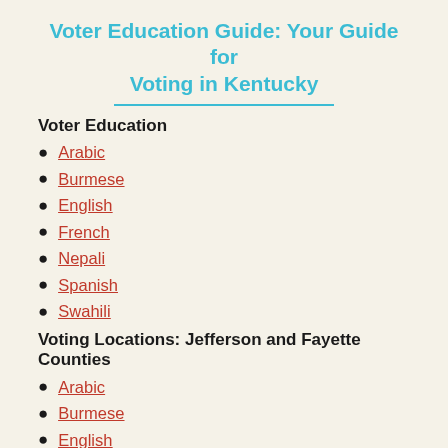Voter Education Guide: Your Guide for Voting in Kentucky
Voter Education
Arabic
Burmese
English
French
Nepali
Spanish
Swahili
Voting Locations: Jefferson and Fayette Counties
Arabic
Burmese
English
French
Nepali